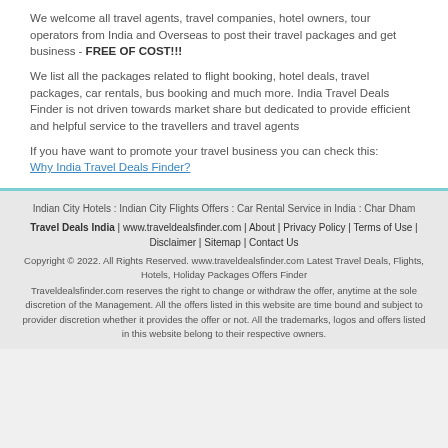We welcome all travel agents, travel companies, hotel owners, tour operators from India and Overseas to post their travel packages and get business - FREE OF COST!!!
We list all the packages related to flight booking, hotel deals, travel packages, car rentals, bus booking and much more. India Travel Deals Finder is not driven towards market share but dedicated to provide efficient and helpful service to the travellers and travel agents
If you have want to promote your travel business you can check this: Why India Travel Deals Finder?
Indian City Hotels : Indian City Flights Offers : Car Rental Service in India : Char Dham
Travel Deals India | www.traveldealsfinder.com | About | Privacy Policy | Terms of Use | Disclaimer | Sitemap | Contact Us
Copyright © 2022. All Rights Reserved. www.traveldealsfinder.com Latest Travel Deals, Flights, Hotels, Holiday Packages Offers Finder
Traveldealsfinder.com reserves the right to change or withdraw the offer, anytime at the sole discretion of the Management. All the offers listed in this website are time bound and subject to provider discretion whether it provides the offer or not. All the trademarks, logos and offers listed in this website belong to their respective owners.